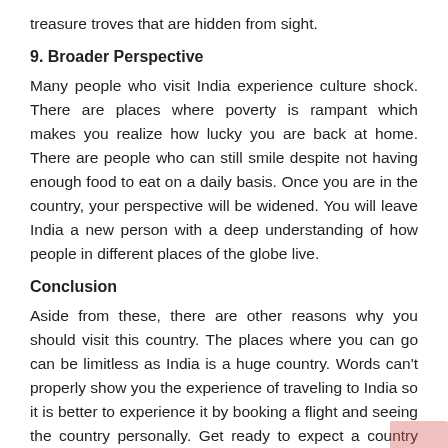treasure troves that are hidden from sight.
9. Broader Perspective
Many people who visit India experience culture shock. There are places where poverty is rampant which makes you realize how lucky you are back at home. There are people who can still smile despite not having enough food to eat on a daily basis. Once you are in the country, your perspective will be widened. You will leave India a new person with a deep understanding of how people in different places of the globe live.
Conclusion
Aside from these, there are other reasons why you should visit this country. The places where you can go can be limitless as India is a huge country. Words can't properly show you the experience of traveling to India so it is better to experience it by booking a flight and seeing the country personally. Get ready to expect a country that is full of surprises. You will never regret visiting this wonderful country.